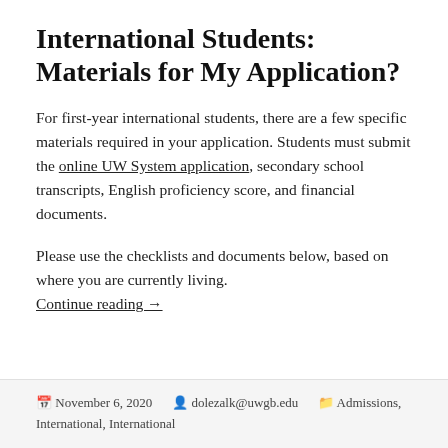International Students: Materials for My Application?
For first-year international students, there are a few specific materials required in your application. Students must submit the online UW System application, secondary school transcripts, English proficiency score, and financial documents.
Please use the checklists and documents below, based on where you are currently living. Continue reading →
November 6, 2020   dolezalk@uwgb.edu   Admissions, International, International